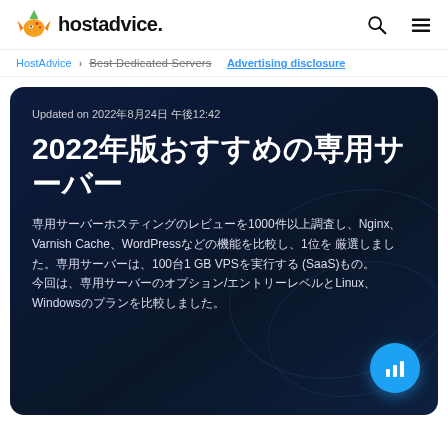hostadvice.
HostAdvice › Best Dedicated Servers   Advertising disclosure
Updated on 2022年8月24日 午後12:42
2022年版おすすめの専用サーバー
専用サーバーホスティングのレビューを1000件以上調査し、Nginx、Varnish Cache、WordPressなどの機能を比較し、1位を厳選しました。専用サーバーは、100台1 GB VPSを実行する(SaaS)もの。今回は、専用サーバーのオプション/エントリーレベルとLinux、Windowsのプランを比較しました。